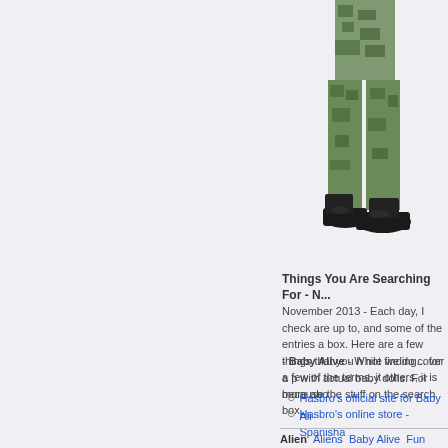[Figure (photo): Partial image of a person or figure wearing military/camouflage pants and black boots, cropped at the right edge of the page]
Things You Are Searching For - N...
November 2013 - Each day, I check are up to, and some of the entries a box. Here are a few things that you not finding... for a few of the terms, it others, it is because the stuff on the search box.
- Baby Alive - While we do cover a p with actual baby dolls. For more abo
Hasbro's official site for Baby Ali
Hasbro's online store - Spanisha
Alien   Aliens   Baby Alive   Fun...